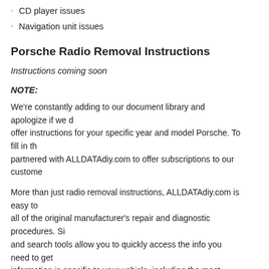CD player issues
Navigation unit issues
Porsche Radio Removal Instructions
Instructions coming soon
NOTE:
We're constantly adding to our document library and apologize if we do not offer instructions for your specific year and model Porsche. To fill in the gap, we've partnered with ALLDATAdiy.com to offer subscriptions to our customers.
More than just radio removal instructions, ALLDATAdiy.com is easy to use and includes all of the original manufacturer's repair and diagnostic procedures. Simple navigation and search tools allow you to quickly access the info you need to get the job done. The information is specific to your vehicle, including the most current Technical Service Bulletins (TSBs) and Recalls for your Porsche. To check it out, just click the link below.
[Figure (other): Small broken image placeholder inside a bordered box]